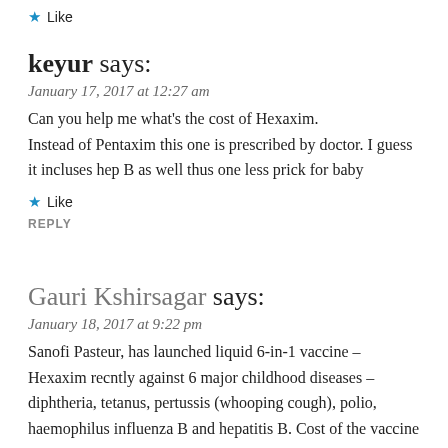Like
keyur says:
January 17, 2017 at 12:27 am
Can you help me what's the cost of Hexaxim. Instead of Pentaxim this one is prescribed by doctor. I guess it incluses hep B as well thus one less prick for baby
Like
REPLY
Gauri Kshirsagar says:
January 18, 2017 at 9:22 pm
Sanofi Pasteur, has launched liquid 6-in-1 vaccine – Hexaxim recntly against 6 major childhood diseases – diphtheria, tetanus, pertussis (whooping cough), polio, haemophilus influenza B and hepatitis B. Cost of the vaccine is approximately Rs. 4800 to Rs. 5000/-